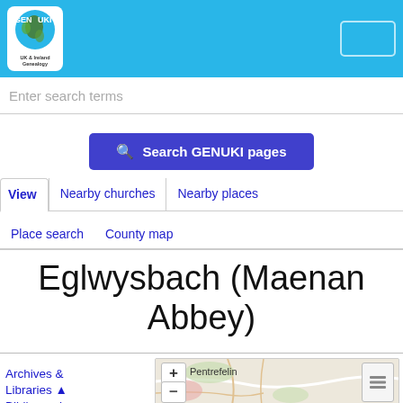[Figure (logo): GENUKI UK & Ireland Genealogy logo with map of UK and Ireland]
Enter search terms
Search GENUKI pages
View
Nearby churches
Nearby places
Place search
County map
Eglwysbach (Maenan Abbey)
Archives & Libraries ▲
Bibliography
[Figure (map): Interactive map showing area around Eglwysbach with Pentrefelin label, zoom controls and layers button]